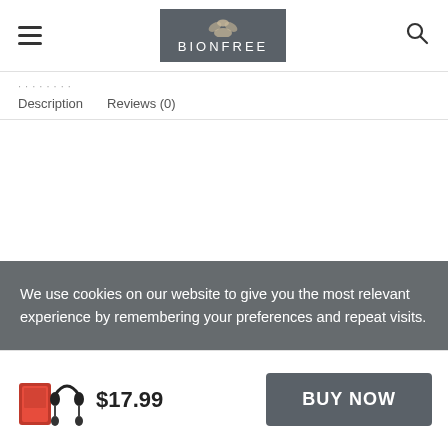BIONFREE
Description   Reviews (0)
We use cookies on our website to give you the most relevant experience by remembering your preferences and repeat visits.
$17.99
BUY NOW